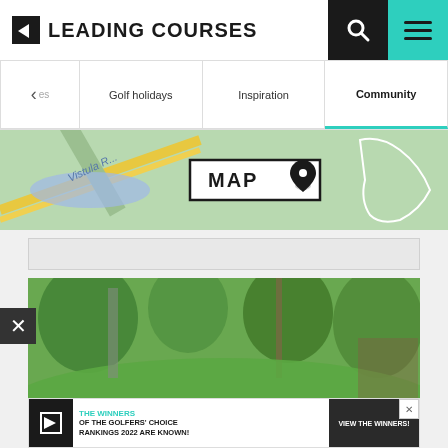LEADING COURSES
Golf holidays | Inspiration | Community
[Figure (map): Map background showing Vistula River area with MAP label and location pin icon]
[Figure (photo): Blurred golf course photo showing green fairway, trees, and flag]
THE WINNERS OF THE GOLFERS' CHOICE RANKINGS 2022 ARE KNOWN! VIEW THE WINNERS!